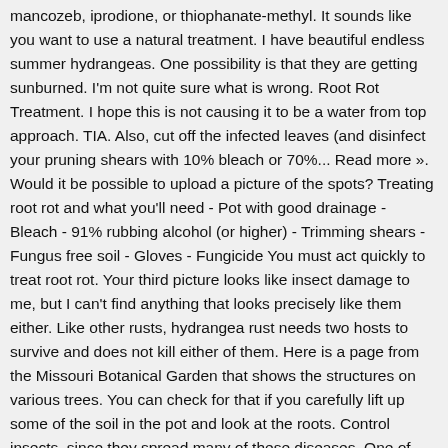mancozeb, iprodione, or thiophanate-methyl. It sounds like you want to use a natural treatment. I have beautiful endless summer hydrangeas. One possibility is that they are getting sunburned. I'm not quite sure what is wrong. Root Rot Treatment. I hope this is not causing it to be a water from top approach. TIA. Also, cut off the infected leaves (and disinfect your pruning shears with 10% bleach or 70%... Read more ». Would it be possible to upload a picture of the spots? Treating root rot and what you'll need - Pot with good drainage - Bleach - 91% rubbing alcohol (or higher) - Trimming shears - Fungus free soil - Gloves - Fungicide You must act quickly to treat root rot. Your third picture looks like insect damage to me, but I can't find anything that looks precisely like them either. Like other rusts, hydrangea rust needs two hosts to survive and does not kill either of them. Here is a page from the Missouri Botanical Garden that shows the structures on various trees. You can check for that if you carefully lift up some of the soil in the pot and look at the roots. Control insects, since they spread many of these diseases. One of Helga George's greatest